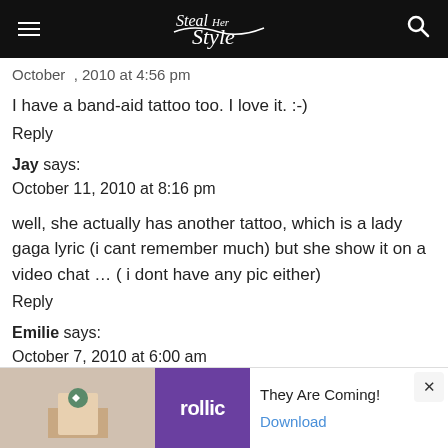Steal Her Style
I have a band-aid tattoo too. I love it. :-)
Reply
Jay says:
October 11, 2010 at 8:16 pm
well, she actually has another tattoo, which is a lady gaga lyric (i cant remember much) but she show it on a video chat … ( i dont have any pic either)
Reply
Emilie says:
October 7, 2010 at 6:00 am
LONE WOLF is not real. If you click to see the
[Figure (screenshot): Advertisement banner at bottom: Rollic game ad with 'They Are Coming!' text and Download button]